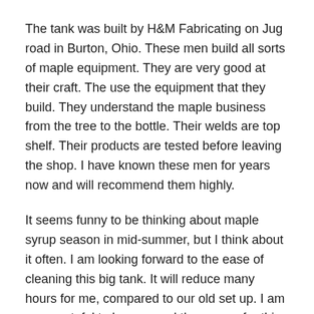The tank was built by H&M Fabricating on Jug road in Burton, Ohio. These men build all sorts of maple equipment. They are very good at their craft. The use the equipment that they build. They understand the maple business from the tree to the bottle. Their welds are top shelf. Their products are tested before leaving the shop. I have known these men for years now and will recommend them highly.
It seems funny to be thinking about maple syrup season in mid-summer, but I think about it often. I am looking forward to the ease of cleaning this big tank. It will reduce many hours for me, compared to our old set up. I am very grateful to have saved the money for this key piece of equipment. It not only holds 1,100 gallons of sap, but it also will feed the evaporator in my gravity set up.